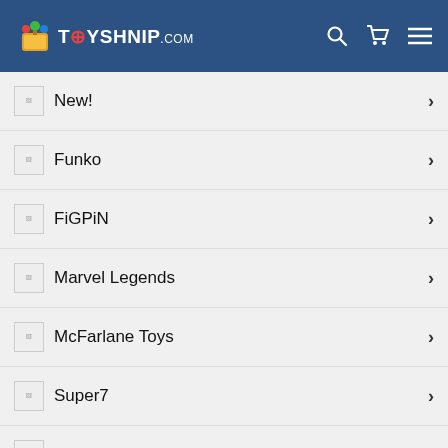TOYSHNIP.COM
New!
Funko
FiGPiN
Marvel Legends
McFarlane Toys
Super7
Sonic the Hedgehog
Star Wars
Masters of the Universe
Chat with us